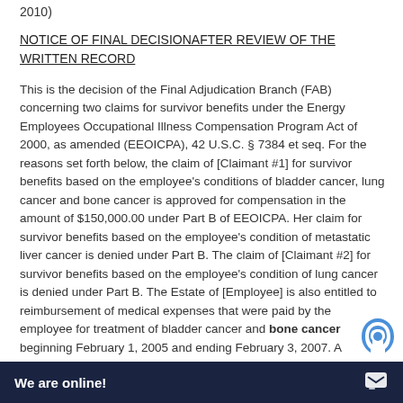2010)
NOTICE OF FINAL DECISIONAFTER REVIEW OF THE WRITTEN RECORD
This is the decision of the Final Adjudication Branch (FAB) concerning two claims for survivor benefits under the Energy Employees Occupational Illness Compensation Program Act of 2000, as amended (EEOICPA), 42 U.S.C. § 7384 et seq. For the reasons set forth below, the claim of [Claimant #1] for survivor benefits based on the employee's conditions of bladder cancer, lung cancer and bone cancer is approved for compensation in the amount of $150,000.00 under Part B of EEOICPA. Her claim for survivor benefits based on the employee's condition of metastatic liver cancer is denied under Part B. The claim of [Claimant #2] for survivor benefits based on the employee's condition of lung cancer is denied under Part B. The Estate of [Employee] is also entitled to reimbursement of medical expenses that were paid by the employee for treatment of bladder cancer and bone cancer beginning February 1, 2005 and ending February 3, 2007. A decision on the claims of [Claimant #1] and [Claimant #2] fo survivor benefits under Part E of EEOICPA is deferred pendi further development by t